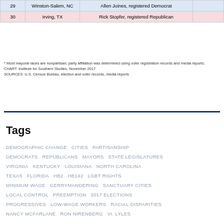|  |  |  |  |
| --- | --- | --- | --- |
| 29 | Winston-Salem, NC | Allen Joines, registered Democrat |  |
| 30 | Irving, TX | Rick Stopfer, registered Republican |  |
* Most mayoral races are nonpartisan; party affiliation was determined using voter registration records and media reports.
CHART: Institute for Southern Studies, November 2017
SOURCES: U.S. Census Bureau, election and voter records, media reports
Tags
DEMOGRAPHIC CHANGE  CITIES  PARTISANSHIP  DEMOCRATS  REPUBLICANS  MAYORS  STATE LEGISLATURES  VIRGINIA  KENTUCKY  LOUISIANA  NORTH CAROLINA  TEXAS  FLORIDA  HB2  HB142  LGBT RIGHTS  MINIMUM WAGE  GERRYMANDERING  SANCTUARY CITIES  LOCAL CONTROL  PREEMPTION  2017 ELECTIONS  PROGRESSIVES  LOW-WAGE WORKERS  RACIAL DISPARITIES  NANCY MCFARLANE  RON NIRENBERG  VI. LYLES